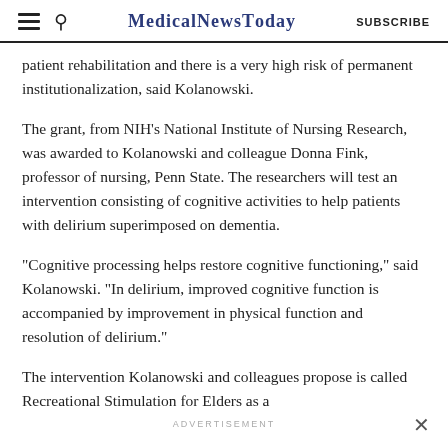MedicalNewsToday | SUBSCRIBE
patient rehabilitation and there is a very high risk of permanent institutionalization, said Kolanowski.
The grant, from NIH's National Institute of Nursing Research, was awarded to Kolanowski and colleague Donna Fink, professor of nursing, Penn State. The researchers will test an intervention consisting of cognitive activities to help patients with delirium superimposed on dementia.
"Cognitive processing helps restore cognitive functioning," said Kolanowski. "In delirium, improved cognitive function is accompanied by improvement in physical function and resolution of delirium."
The intervention Kolanowski and colleagues propose is called Recreational Stimulation for Elders as a
ADVERTISEMENT